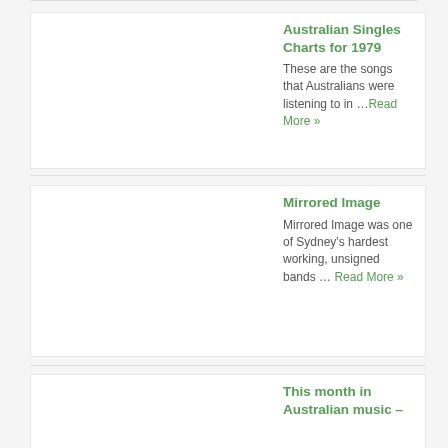Australian Singles Charts for 1979
These are the songs that Australians were listening to in ... Read More »
[Figure (other): Blank white image placeholder for Australian Singles Charts for 1979]
Mirrored Image
Mirrored Image was one of Sydney's hardest working, unsigned bands ... Read More »
[Figure (other): Blank white image placeholder for Mirrored Image]
This month in Australian music –